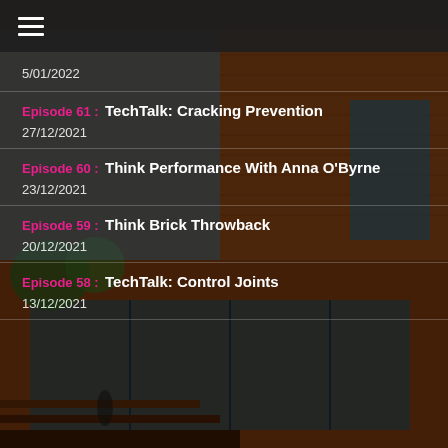[Figure (photo): Background photo of a modern brick building with large glass windows, outdoor steps, and greenery. People visible in foreground.]
☰
5/01/2022
Episode 61 : TechTalk: Cracking Prevention
27/12/2021
Episode 60 : Think Performance With Anna O'Byrne
23/12/2021
Episode 59 : Think Brick Throwback
20/12/2021
Episode 58 : TechTalk: Control Joints
13/12/2021